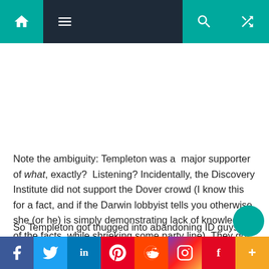Navigation bar with home, menu, search, and shuffle icons
Note the ambiguity: Templeton was a major supporter of what, exactly? Listening? Incidentally, the Discovery Institute did not support the Dover crowd (I know this for a fact, and if the Darwin lobbyist tells you otherwise, she (or he) is simply demonstrating lack of knowledge of the facts, while shrieking some party line). They got dragged into it by the media feeding frenzy.
So Templeton got thugged into abandoning ID guys like
Social share bar: Facebook, Twitter, LinkedIn, Pinterest, Reddit, Instagram, Flipboard, More